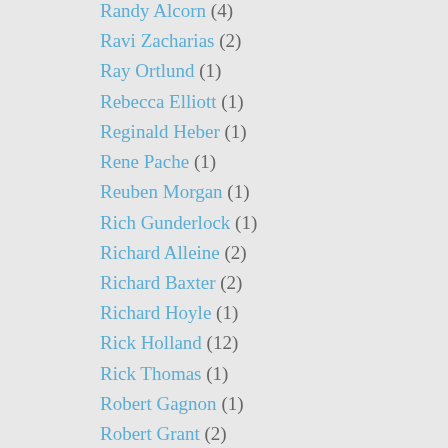Randy Alcorn (4)
Ravi Zacharias (2)
Ray Ortlund (1)
Rebecca Elliott (1)
Reginald Heber (1)
Rene Pache (1)
Reuben Morgan (1)
Rich Gunderlock (1)
Richard Alleine (2)
Richard Baxter (2)
Richard Hoyle (1)
Rick Holland (12)
Rick Thomas (1)
Robert Gagnon (1)
Robert Grant (2)
Robert Hawker (1)
Robert Robinson (1)
Robert Spence (1)
Ronnie Martin (1)
Russell Moore (29)
Ryan Baird (1)